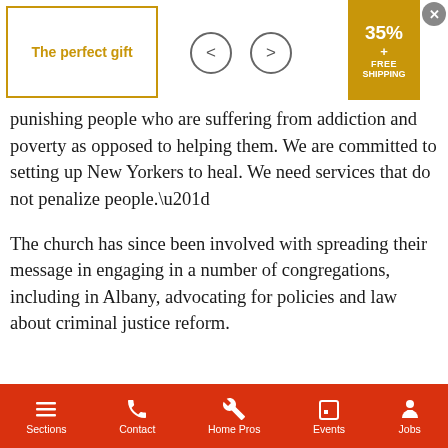[Figure (screenshot): Ad banner with 'The perfect gift' text in gold, navigation arrows, and a 35%+ FREE SHIPPING badge]
“New Yo… y,” she said. “W…
punishing people who are suffering from addiction and poverty as opposed to helping them. We are committed to setting up New Yorkers to heal. We need services that do not penalize people.”
The church has since been involved with spreading their message in engaging in a number of congregations, including in Albany, advocating for policies and law about criminal justice reform.
[Figure (screenshot): Video popup overlay with title 'California asked to conserve energy am...' with mute button (yellow circle with speaker icon crossed out) and loading indicator on black background]
…mands, but in September
…kers Island by 2026 and
…odern and humane”
Sections   Contact   Home Pros   Events   Jobs